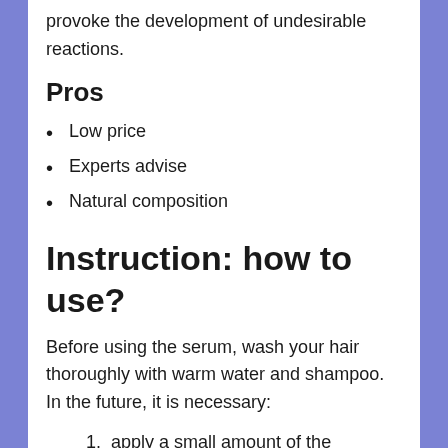provoke the development of undesirable reactions.
Pros
Low price
Experts advise
Natural composition
Instruction: how to use?
Before using the serum, wash your hair thoroughly with warm water and shampoo. In the future, it is necessary:
apply a small amount of the preparation to the hair roots and scalp;
rub the serum into problem areas with